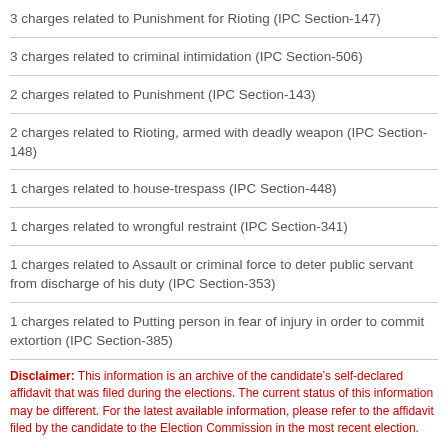3 charges related to Punishment for Rioting (IPC Section-147)
3 charges related to criminal intimidation (IPC Section-506)
2 charges related to Punishment (IPC Section-143)
2 charges related to Rioting, armed with deadly weapon (IPC Section-148)
1 charges related to house-trespass (IPC Section-448)
1 charges related to wrongful restraint (IPC Section-341)
1 charges related to Assault or criminal force to deter public servant from discharge of his duty (IPC Section-353)
1 charges related to Putting person in fear of injury in order to commit extortion (IPC Section-385)
Disclaimer: This information is an archive of the candidate's self-declared affidavit that was filed during the elections. The current status of this information may be different. For the latest available information, please refer to the affidavit filed by the candidate to the Election Commission in the most recent election.
Data Readability Report of Criminal Cases :No Problems in Reading Affidavit Information